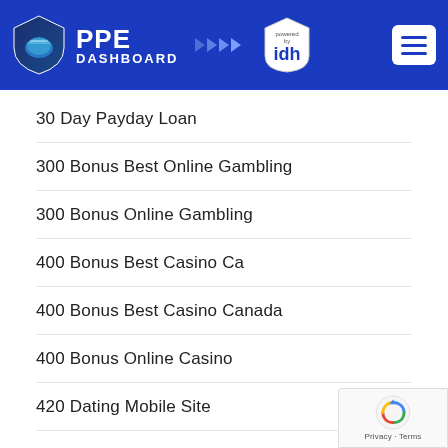[Figure (logo): PPE Dashboard logo with shield icon and 'powered by idh' badge, blue header with hamburger menu]
30 Day Payday Loan
300 Bonus Best Online Gambling
300 Bonus Online Gambling
400 Bonus Best Casino Ca
400 Bonus Best Casino Canada
400 Bonus Online Casino
420 Dating Mobile Site
420 Dating Site For People